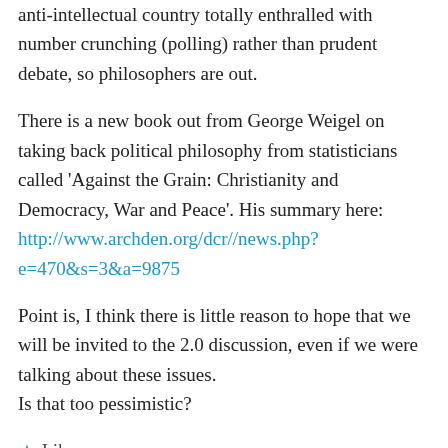anti-intellectual country totally enthralled with number crunching (polling) rather than prudent debate, so philosophers are out.
There is a new book out from George Weigel on taking back political philosophy from statisticians called 'Against the Grain: Christianity and Democracy, War and Peace'. His summary here: http://www.archden.org/dcr//news.php?e=470&s=3&a=9875
Point is, I think there is little reason to hope that we will be invited to the 2.0 discussion, even if we were talking about these issues. Is that too pessimistic?
★ Like
↵ Reply